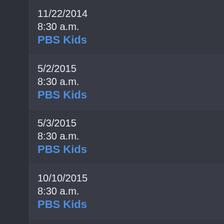11/22/2014
8:30 a.m.
PBS Kids
5/2/2015
8:30 a.m.
PBS Kids
5/3/2015
8:30 a.m.
PBS Kids
10/10/2015
8:30 a.m.
PBS Kids
10/11/2015
8:30 a.m.
PBS Kids